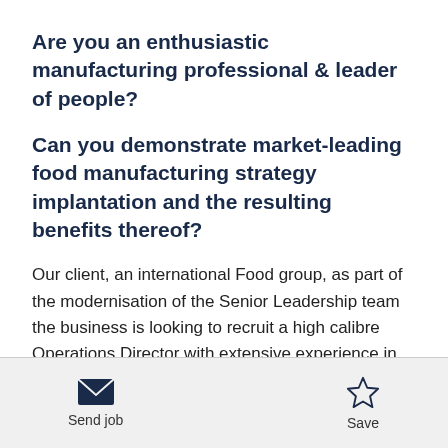Are you an enthusiastic manufacturing professional & leader of people?
Can you demonstrate market-leading food manufacturing strategy implantation and the resulting benefits thereof?
Our client, an international Food group, as part of the modernisation of the Senior Leadership team the business is looking to recruit a high calibre Operations Director with extensive experience in food manufacturing, reporting directly to the Managing Director. The position will be part of the senior
[Figure (infographic): Email envelope icon with label 'Send job' and star/bookmark icon with label 'Save']